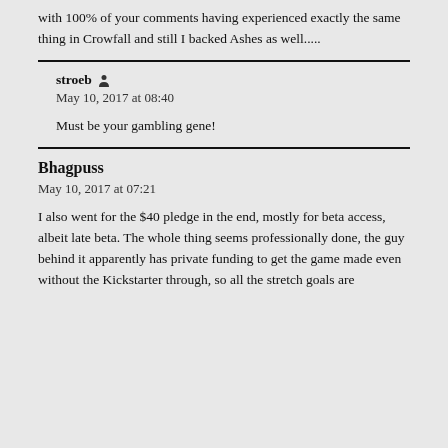with 100% of your comments having experienced exactly the same thing in Crowfall and still I backed Ashes as well.....
stroeb [person icon]
May 10, 2017 at 08:40
Must be your gambling gene!
Bhagpuss
May 10, 2017 at 07:21
I also went for the $40 pledge in the end, mostly for beta access, albeit late beta. The whole thing seems professionally done, the guy behind it apparently has private funding to get the game made even without the Kickstarter through, so all the stretch goals are...